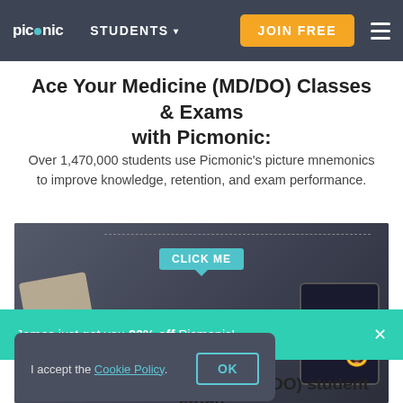picmonic  STUDENTS ▾  JOIN FREE  ≡
Ace Your Medicine (MD/DO) Classes & Exams with Picmonic:
Over 1,470,000 students use Picmonic's picture mnemonics to improve knowledge, retention, and exam performance.
[Figure (screenshot): Dark-themed interactive Picmonic study card interface with a 'CLICK ME' tooltip bubble, decorative banner strings, and a tablet device visible on the right side.]
James just got you 20% off Picmonic!
I accept the Cookie Policy.  OK
Choose the #1 Medicine (MD/DO) student study